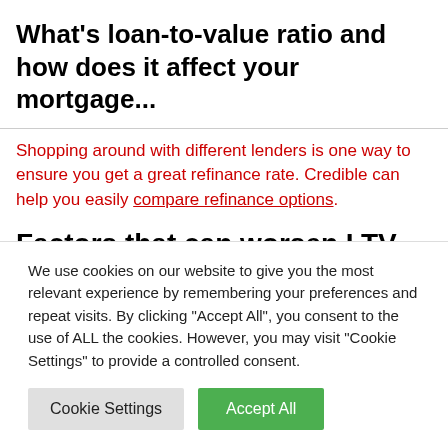What's loan-to-value ratio and how does it affect your mortgage...
Shopping around with different lenders is one way to ensure you get a great refinance rate. Credible can help you easily compare refinance options.
Factors that can worsen LTV ratios
Your LTV ratio may increase in a number of situations and make it more difficult for you to refinance your mortgage.
We use cookies on our website to give you the most relevant experience by remembering your preferences and repeat visits. By clicking "Accept All", you consent to the use of ALL the cookies. However, you may visit "Cookie Settings" to provide a controlled consent.